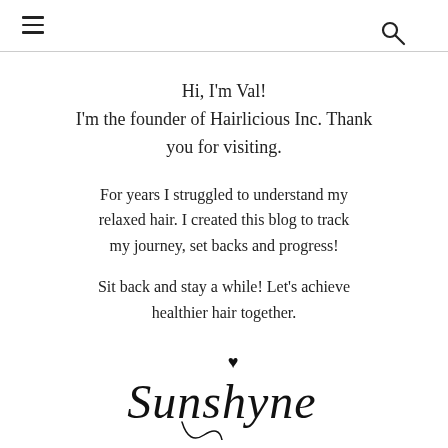≡  🔍
Hi, I'm Val!
I'm the founder of Hairlicious Inc. Thank you for visiting.
For years I struggled to understand my relaxed hair. I created this blog to track my journey, set backs and progress!
Sit back and stay a while! Let's achieve healthier hair together.
[Figure (illustration): Cursive handwritten signature reading 'Sunshyne' with a filled black heart symbol above the letter h]